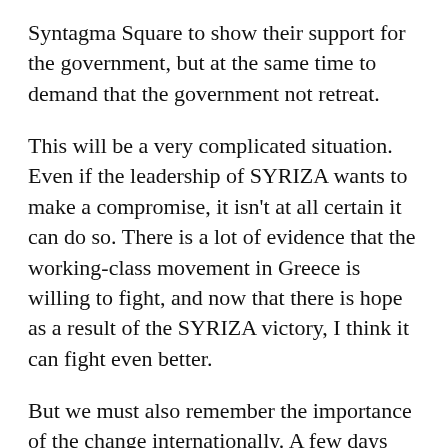Syntagma Square to show their support for the government, but at the same time to demand that the government not retreat.
This will be a very complicated situation. Even if the leadership of SYRIZA wants to make a compromise, it isn't at all certain it can do so. There is a lot of evidence that the working-class movement in Greece is willing to fight, and now that there is hope as a result of the SYRIZA victory, I think it can fight even better.
But we must also remember the importance of the change internationally. A few days ago, I was in Germany, speaking to a public meeting about the government of the left in Greece, and as people there said, this is the first time in 20 years that there has been a public discussion in Germany about another possible road than neoliberalism. That is very important. You can see the alternative in Spain--the second example of left-wing success in elections after